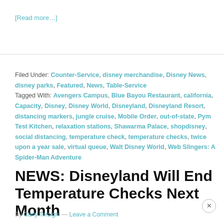[Read more…]
Filed Under: Counter-Service, disney merchandise, Disney News, disney parks, Featured, News, Table-Service
Tagged With: Avengers Campus, Blue Bayou Restaurant, california, Capacity, Disney, Disney World, Disneyland, Disneyland Resort, distancing markers, jungle cruise, Mobile Order, out-of-state, Pym Test Kitchen, relaxation stations, Shawarma Palace, shopdisney, social distancing, temperature check, temperature checks, twice upon a year sale, virtual queue, Walt Disney World, Web Slingers: A Spider-Man Adventure
NEWS: Disneyland Will End Temperature Checks Next Month
By Carly Terzigni — Leave a Comment